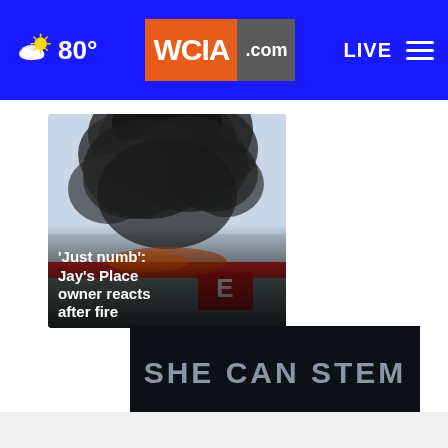80° WCIA.com LIVE
[Figure (photo): Fire scene showing large black smoke billowing from a building with a red roof and a sign. News headline overlaid on bottom of image: 'Just numb': Jay's Place owner reacts after fire]
'Just numb': Jay's Place owner reacts after fire
[Figure (other): Close button (X) in dark circle]
[Figure (other): Advertisement banner reading SHE CAN STEM on dark background]